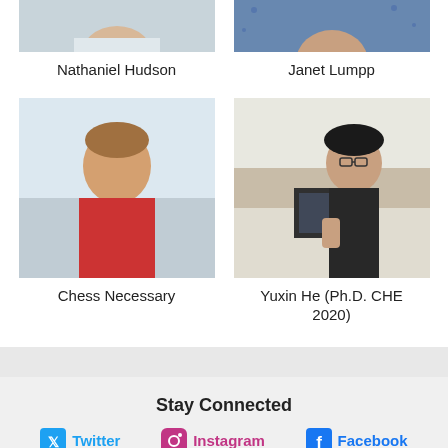[Figure (photo): Partial headshot of Nathaniel Hudson, cropped at top, light background]
[Figure (photo): Partial headshot of Janet Lumpp, wearing blue patterned top, cropped at top]
Nathaniel Hudson
Janet Lumpp
[Figure (photo): Full photo of Chess Necessary, young man in red shirt, light indoor background]
[Figure (photo): Full photo of Yuxin He, woman with glasses giving thumbs up, laptop visible, indoor kitchen background]
Chess Necessary
Yuxin He (Ph.D. CHE 2020)
Stay Connected
Twitter
Instagram
Facebook